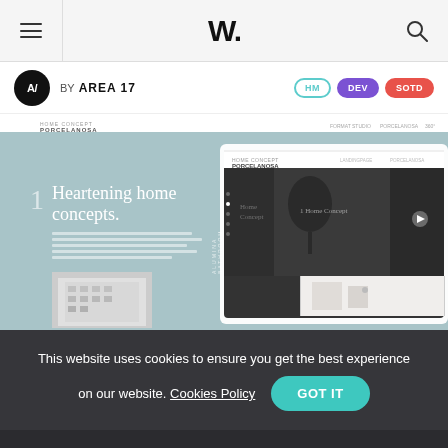W.
BY AREA 17  HM  DEV  SOTD
[Figure (screenshot): Screenshot of the PORCELANOSA Home Concept website showing interior design with text 'Heartening home concepts.' and overlaid tablet view showing 'Home Concept' interior photography]
This website uses cookies to ensure you get the best experience on our website. Cookies Policy  GOT IT